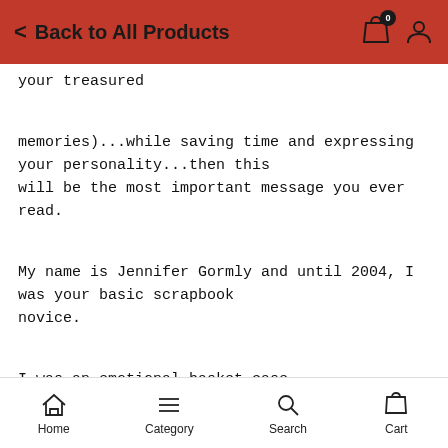Back to All Products
your treasured

memories)...while saving time and expressing your personality...then this
will be the most important message you ever read.

My name is Jennifer Gormly and until 2004, I was your basic scrapbook
novice.

I was an emotional basket case.

One day I would have Van Gogh inspirations and creativity. And the next
Home  Category  Search  Cart